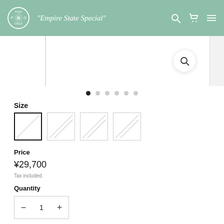"Empire State Special"
[Figure (screenshot): Product image area with search icon and navigation dots]
Size
[Figure (other): Four size swatch boxes with diagonal slash marks; first one is selected (bold border)]
Price
¥29,700
Tax included.
Quantity
- 1 +